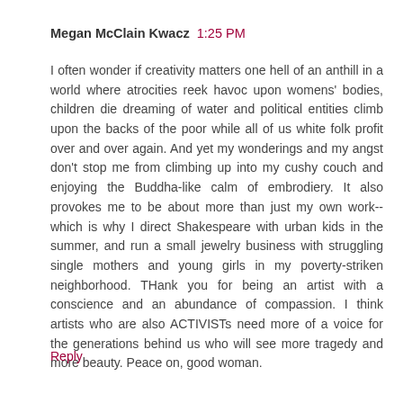Megan McClain Kwacz  1:25 PM
I often wonder if creativity matters one hell of an anthill in a world where atrocities reek havoc upon womens' bodies, children die dreaming of water and political entities climb upon the backs of the poor while all of us white folk profit over and over again. And yet my wonderings and my angst don't stop me from climbing up into my cushy couch and enjoying the Buddha-like calm of embrodiery. It also provokes me to be about more than just my own work-- which is why I direct Shakespeare with urban kids in the summer, and run a small jewelry business with struggling single mothers and young girls in my poverty-striken neighborhood. THank you for being an artist with a conscience and an abundance of compassion. I think artists who are also ACTIVISTs need more of a voice for the generations behind us who will see more tragedy and more beauty. Peace on, good woman.
Reply